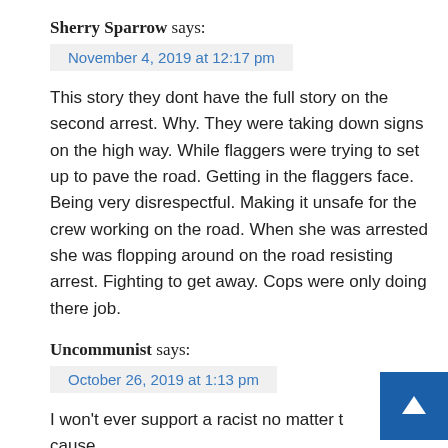Sherry Sparrow says:
November 4, 2019 at 12:17 pm
This story they dont have the full story on the second arrest. Why. They were taking down signs on the high way. While flaggers were trying to set up to pave the road. Getting in the flaggers face. Being very disrespectful. Making it unsafe for the crew working on the road. When she was arrested she was flopping around on the road resisting arrest. Fighting to get away. Cops were only doing there job.
Uncommunist says:
October 26, 2019 at 1:13 pm
I won't ever support a racist no matter t cause.